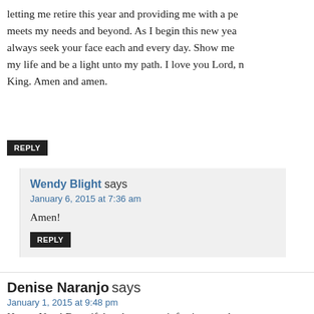letting me retire this year and providing me with a pe meets my needs and beyond. As I begin this new yea always seek your face each and every day. Show me my life and be a light unto my path. I love you Lord, n King. Amen and amen.
REPLY
Wendy Blight says
January 6, 2015 at 7:36 am
Amen!
REPLY
Denise Naranjo says
January 1, 2015 at 9:48 pm
Happy New! Beautiful and encouraginfection word a